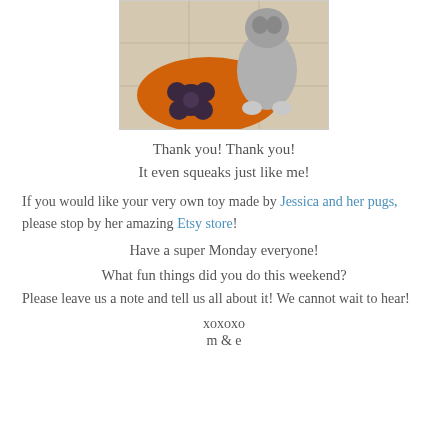[Figure (photo): Photo of a dog standing on an orange round mat/bed next to a dark flower-shaped toy, on a tiled floor. Viewed from above.]
Thank you! Thank you!
It even squeaks just like me!
If you would like your very own toy made by Jessica and her pugs, please stop by her amazing Etsy store!
Have a super Monday everyone!
What fun things did you do this weekend?
Please leave us a note and tell us all about it! We cannot wait to hear!
xoxoxo
m & e